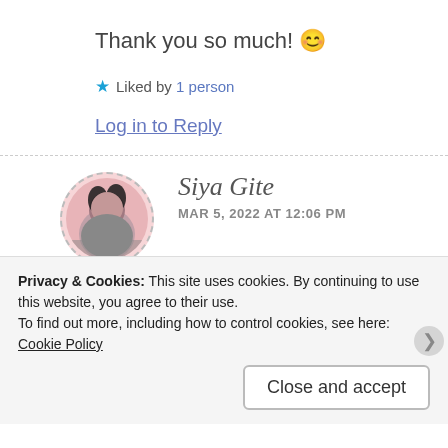Thank you so much! 😊
★ Liked by 1 person
Log in to Reply
[Figure (photo): Circular avatar photo of Siya Gite with dashed border, showing a person with dark hair against a pink background]
Siya Gite
MAR 5, 2022 AT 12:06 PM
This is such a great neem!! 🤩
Privacy & Cookies: This site uses cookies. By continuing to use this website, you agree to their use.
To find out more, including how to control cookies, see here: Cookie Policy
Close and accept